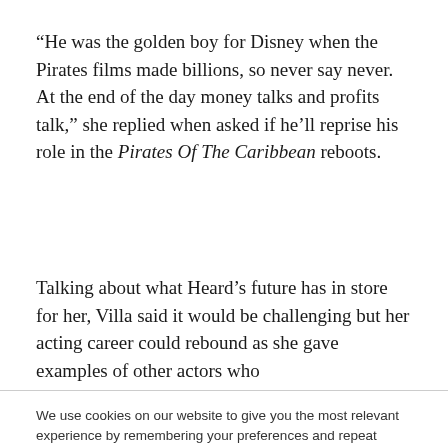“He was the golden boy for Disney when the Pirates films made billions, so never say never. At the end of the day money talks and profits talk,” she replied when asked if he’ll reprise his role in the Pirates Of The Caribbean reboots.
Talking about what Heard’s future has in store for her, Villa said it would be challenging but her acting career could rebound as she gave examples of other actors who
We use cookies on our website to give you the most relevant experience by remembering your preferences and repeat visits. By clicking “Accept All”, you consent to the use of ALL the cookies. However, you may visit “Cookie Settings” to provide a controlled consent.